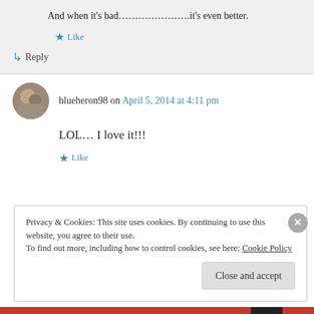And when it's bad…………………it's even better.
★ Like
↳ Reply
blueheron98 on April 5, 2014 at 4:11 pm
LOL… I love it!!!
★ Like
Privacy & Cookies: This site uses cookies. By continuing to use this website, you agree to their use.
To find out more, including how to control cookies, see here: Cookie Policy
Close and accept